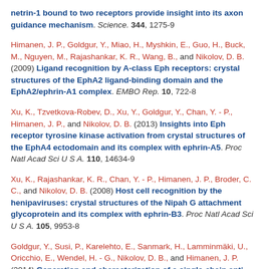netrin-1 bound to two receptors provide insight into its axon guidance mechanism. Science. 344, 1275-9
Himanen, J. P., Goldgur, Y., Miao, H., Myshkin, E., Guo, H., Buck, M., Nguyen, M., Rajashankar, K. R., Wang, B., and Nikolov, D. B. (2009) Ligand recognition by A-class Eph receptors: crystal structures of the EphA2 ligand-binding domain and the EphA2/ephrin-A1 complex. EMBO Rep. 10, 722-8
Xu, K., Tzvetkova-Robev, D., Xu, Y., Goldgur, Y., Chan, Y. - P., Himanen, J. P., and Nikolov, D. B. (2013) Insights into Eph receptor tyrosine kinase activation from crystal structures of the EphA4 ectodomain and its complex with ephrin-A5. Proc Natl Acad Sci U S A. 110, 14634-9
Xu, K., Rajashankar, K. R., Chan, Y. - P., Himanen, J. P., Broder, C. C., and Nikolov, D. B. (2008) Host cell recognition by the henipaviruses: crystal structures of the Nipah G attachment glycoprotein and its complex with ephrin-B3. Proc Natl Acad Sci U S A. 105, 9953-8
Goldgur, Y., Susi, P., Karelehto, E., Sanmark, H., Lamminmäki, U., Oricchio, E., Wendel, H. - G., Nikolov, D. B., and Himanen, J. P. (2014) Generation and characterization of a single-chain anti-EphA2